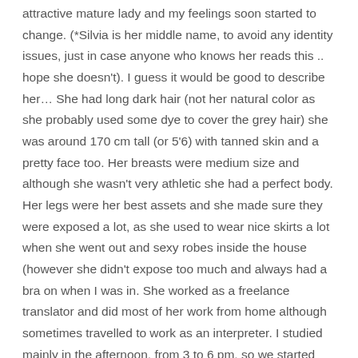attractive mature lady and my feelings soon started to change. (*Silvia is her middle name, to avoid any identity issues, just in case anyone who knows her reads this .. hope she doesn't). I guess it would be good to describe her… She had long dark hair (not her natural color as she probably used some dye to cover the grey hair) she was around 170 cm tall (or 5'6) with tanned skin and a pretty face too. Her breasts were medium size and although she wasn't very athletic she had a perfect body. Her legs were her best assets and she made sure they were exposed a lot, as she used to wear nice skirts a lot when she went out and sexy robes inside the house (however she didn't expose too much and always had a bra on when I was in. She worked as a freelance translator and did most of her work from home although sometimes travelled to work as an interpreter. I studied mainly in the afternoon, from 3 to 6 pm, so we started spending more time together in the mornings, although nothing more than a friendship. I tried